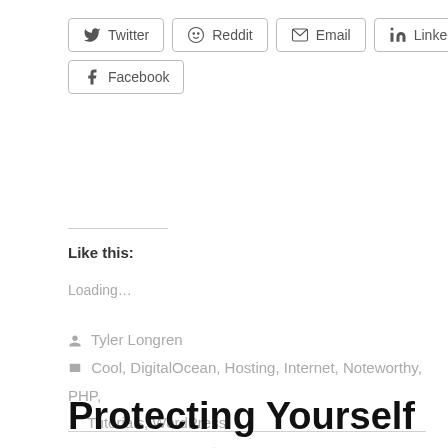[Figure (other): Social share buttons row 1: Twitter, Reddit, Email, LinkedIn]
[Figure (other): Social share button row 2: Facebook]
Like this:
Loading...
Tyler Longren
Cool, DigitalOcean, Hosting, Internet, Noteworthy, PHP, Tutorials, WordPress
12 Comments   January 28, 2015   2 Minutes
Protecting Yourself